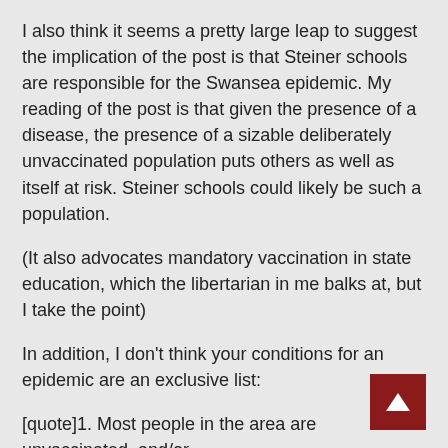I also think it seems a pretty large leap to suggest the implication of the post is that Steiner schools are responsible for the Swansea epidemic. My reading of the post is that given the presence of a disease, the presence of a sizable deliberately unvaccinated population puts others as well as itself at risk. Steiner schools could likely be such a population.
(It also advocates mandatory vaccination in state education, which the libertarian in me balks at, but I take the point)
In addition, I don't think your conditions for an epidemic are an exclusive list:
[quote]1. Most people in the area are unvaccinated, and/or
2. The vaccine is not offering effective protection.
[/quote]